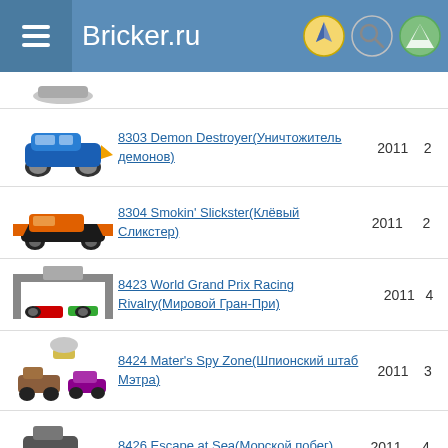Bricker.ru
8303 Demon Destroyer(Уничтожитель демонов)	2011	2
8304 Smokin' Slickster(Клёвый Сликстер)	2011	2
8423 World Grand Prix Racing Rivalry(Мировой Гран-При)	2011	4
8424 Mater's Spy Zone(Шпионский штаб Мэтра)	2011	3
8426 Escape at Sea(Морской побег)	2011	4
8486 Mack's Team Truck(Трейлер Мака)	2011	2